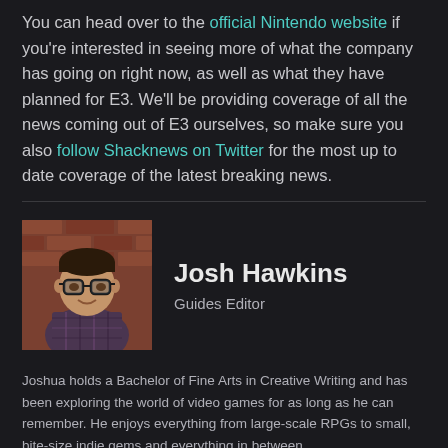You can head over to the official Nintendo website if you're interested in seeing more of what the company has going on right now, as well as what they have planned for E3. We'll be providing coverage of all the news coming out of E3 ourselves, so make sure you also follow Shacknews on Twitter for the most up to date coverage of the latest breaking news.
[Figure (photo): Headshot photo of Josh Hawkins, a young man with glasses and dark hair, wearing a plaid shirt, photographed outdoors against a brick wall background.]
Josh Hawkins
Guides Editor
Joshua holds a Bachelor of Fine Arts in Creative Writing and has been exploring the world of video games for as long as he can remember. He enjoys everything from large-scale RPGs to small, bite-size indie gems and everything in between.